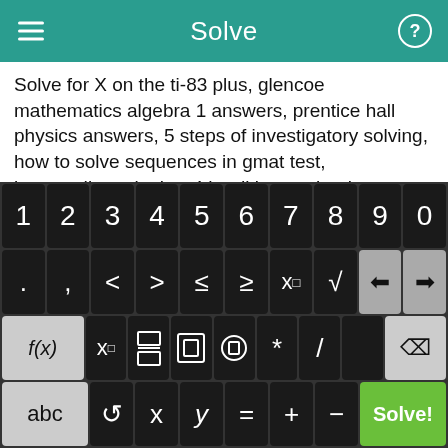Solve
Solve for X on the ti-83 plus, glencoe mathematics algebra 1 answers, prentice hall physics answers, 5 steps of investigatory solving, how to solve sequences in gmat test, intermediate algebra 4th edition textbook, printable worksheet adding subtracting negative numbers.
Prime factored form, maths sheet, solving polynomials with ti 84, finding common denominator with equations, positive and negative rule worksheets, algebra functions problems 9th grade, math proportion worksheet.
[Figure (screenshot): Mobile math keyboard with number row (1-0), operator/symbol row (., comma, <, >, ≤, ≥, x^, √, backspace arrows), function row (f(x), x subscript, fraction, absolute value, parentheses, *, /, delete), and bottom row (abc, semicircle, x, y, =, +, -, Solve! button in green)]